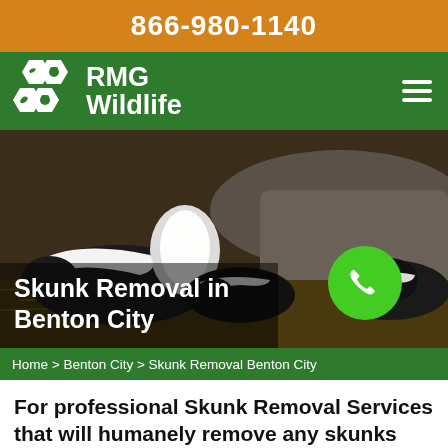866-980-1140
[Figure (logo): RMG Wildlife logo with hexagonal animal icons and company name]
[Figure (photo): Photo of skunks huddled under a rock or log on straw/hay, black and white striped skunks]
Skunk Removal in Benton City
Home > Benton City > Skunk Removal Benton City
For professional Skunk Removal Services that will humanely remove any skunks that may be invading your